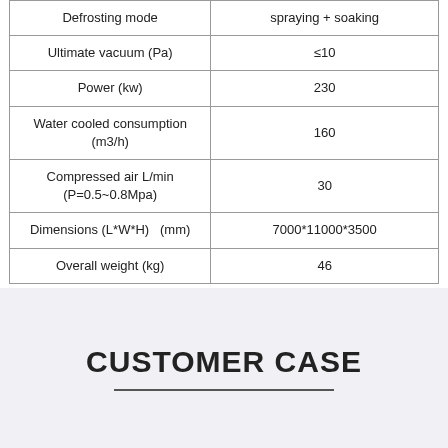| Defrosting mode | spraying + soaking |
| Ultimate vacuum (Pa) | ≤10 |
| Power (kw) | 230 |
| Water cooled consumption (m3/h) | 160 |
| Compressed air L/min (P=0.5~0.8Mpa) | 30 |
| Dimensions (L*W*H)   (mm) | 7000*11000*3500 |
| Overall weight (kg) | 46 |
CUSTOMER CASE